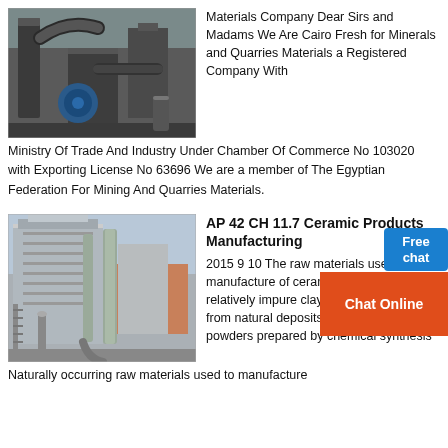[Figure (photo): Industrial machinery with large pipes, ducts, and equipment in a factory or plant setting. Dark metal structures, motor visible.]
Materials Company Dear Sirs and Madams We Are Cairo Fresh for Minerals and Quarries Materials a Registered Company With Ministry Of Trade And Industry Under Chamber Of Commerce No 103020 with Exporting License No 63696 We are a member of The Egyptian Federation For Mining And Quarries Materials.
[Figure (photo): Large industrial building exterior with dust collection or filter towers, pipes, and metal structures. Blue sky and brick building visible in background.]
AP 42 CH 11.7 Ceramic Products Manufacturing
2015 9 10 The raw materials used in the manufacture of ceramics range from relatively impure clay materials mined from natural deposits to ultrahigh purity powders prepared by chemical synthesis Naturally occurring raw materials used to manufacture